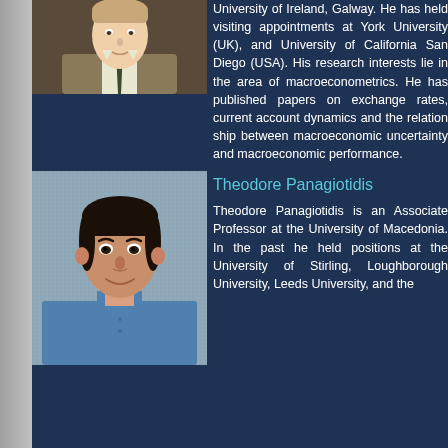[Figure (photo): Portrait photo of a man in a suit and tie with dark background]
University of Ireland, Galway. He has held visiting appointments at York University (UK), and the University of California San Diego (USA). His research interests lie in the area of macroeconometrics. He has published papers on exchange rates, current account dynamics and the relationship between macroeconomic uncertainty and macroeconomic performance.
[Figure (photo): Portrait photo of Theodore Panagiotidis, a man with dark hair wearing a blue shirt]
Theodore Panagiotidis
Theodore Panagiotidis is an Associate Professor at the University of Macedonia. In the past he held positions at the University of Stirling, Loughborough University, Leeds University, and the